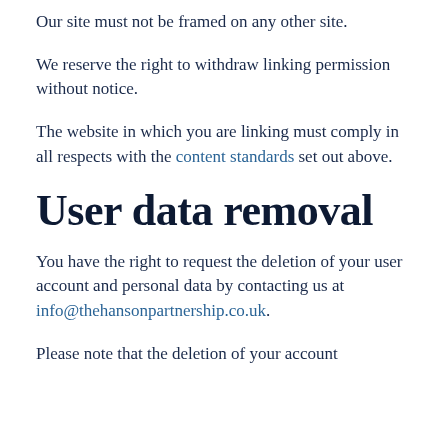Our site must not be framed on any other site.
We reserve the right to withdraw linking permission without notice.
The website in which you are linking must comply in all respects with the content standards set out above.
User data removal
You have the right to request the deletion of your user account and personal data by contacting us at info@thehansonpartnership.co.uk.
Please note that the deletion of your account...